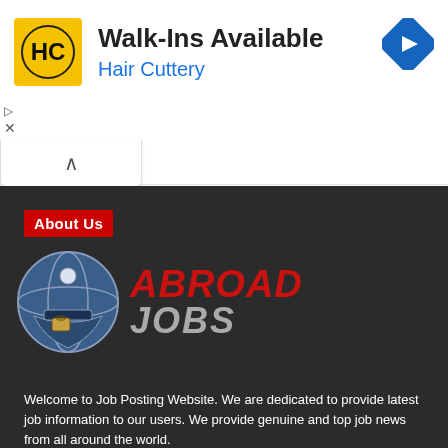[Figure (screenshot): Advertisement banner for Hair Cuttery salon with logo, 'Walk-Ins Available' headline, blue navigation arrow icon, and ad controls including play and close buttons, plus a collapse chevron bar.]
About Us
[Figure (logo): Abroad Jobs logo: a blue globe/helmet icon on the left and bold italic red text 'ABROAD' above gray text 'JOBS' on the right, on a dark background.]
Welcome to Job Posting Website. We are dedicated to provide latest job information to our users. We provide genuine and top job news from all around the world.